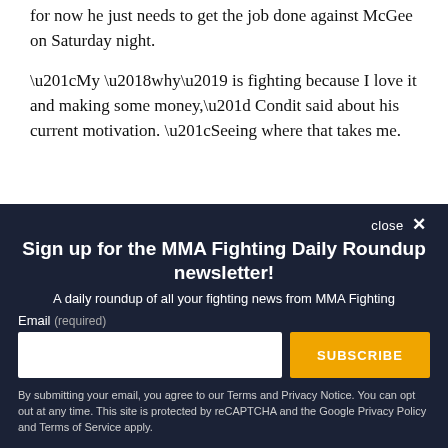for now he just needs to get the job done against McGee on Saturday night.
“My ‘why’ is fighting because I love it and making some money,” Condit said about his current motivation. “Seeing where that takes me.
[Figure (screenshot): Newsletter signup modal with dark navy background. Title: Sign up for the MMA Fighting Daily Roundup newsletter! Subtitle: A daily roundup of all your fighting news from MMA Fighting. Email input field and Subscribe button.]
By submitting your email, you agree to our Terms and Privacy Notice. You can opt out at any time. This site is protected by reCAPTCHA and the Google Privacy Policy and Terms of Service apply.